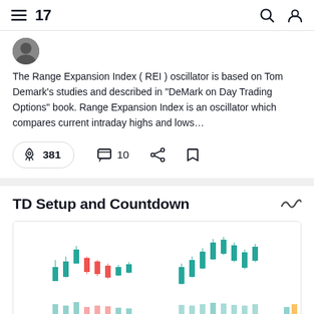TradingView navigation bar with hamburger menu, logo '17', search icon, and profile icon
[Figure (photo): Small circular avatar/profile image thumbnail]
The Range Expansion Index ( REI ) oscillator is based on Tom Demark's studies and described in "DeMark on Day Trading Options" book. Range Expansion Index is an oscillator which compares current intraday highs and lows…
🚀 381  💬 10
TD Setup and Countdown
[Figure (screenshot): Candlestick chart preview showing TD Setup and Countdown indicator with green and red candles and price scale on the right]